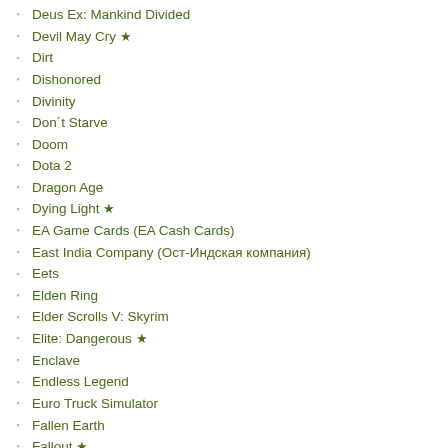Deus Ex: Mankind Divided
Devil May Cry ★
Dirt
Dishonored
Divinity
Don´t Starve
Doom
Dota 2
Dragon Age
Dying Light ★
EA Game Cards (EA Cash Cards)
East India Company (Ост-Индская компания)
Eets
Elden Ring
Elder Scrolls V: Skyrim
Elite: Dangerous ★
Enclave
Endless Legend
Euro Truck Simulator
Fallen Earth
Fallout ★
Farming Simulator
FEAR
Final Fantasy
Firewatch